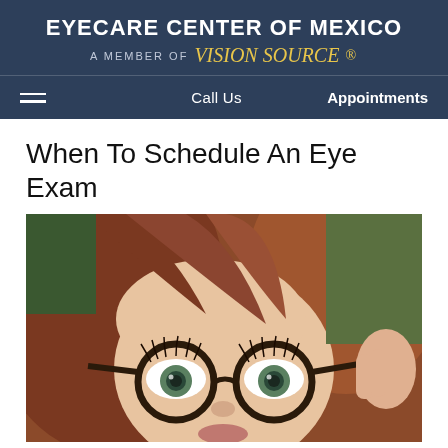EYECARE CENTER OF MEXICO
A MEMBER OF Vision Source
Call Us   Appointments
When To Schedule An Eye Exam
[Figure (photo): Close-up photo of a young woman with red-brown hair peeking over round dark-framed glasses, looking at the camera with green eyes]